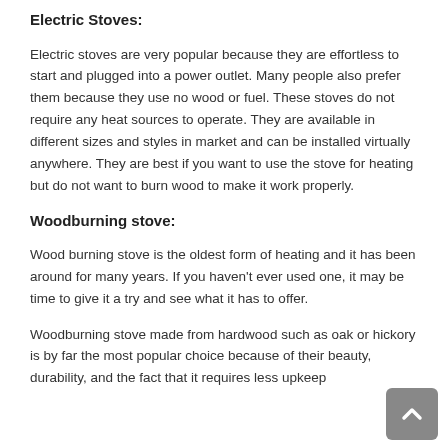Electric Stoves:
Electric stoves are very popular because they are effortless to start and plugged into a power outlet. Many people also prefer them because they use no wood or fuel. These stoves do not require any heat sources to operate. They are available in different sizes and styles in market and can be installed virtually anywhere. They are best if you want to use the stove for heating but do not want to burn wood to make it work properly.
Woodburning stove:
Wood burning stove is the oldest form of heating and it has been around for many years. If you haven't ever used one, it may be time to give it a try and see what it has to offer.
Woodburning stove made from hardwood such as oak or hickory is by far the most popular choice because of their beauty, durability, and the fact that it requires less upkeep